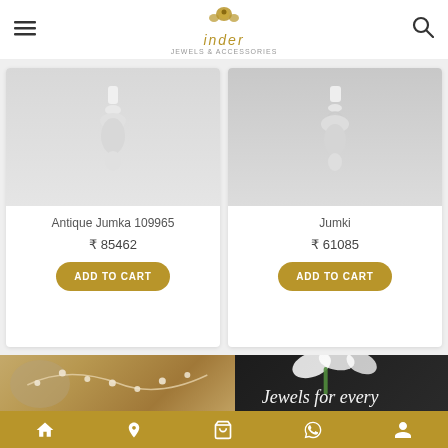Inder Jewels & Accessories
Antique Jumka 109965
₹ 85462
ADD TO CART
Jumki
₹ 61085
ADD TO CART
[Figure (photo): Banner image showing gold jewelry with pearls on stone background on the left, and white flowers on dark background on the right, with italic text 'Jewels for every']
Home | Location | Cart | WhatsApp | Account